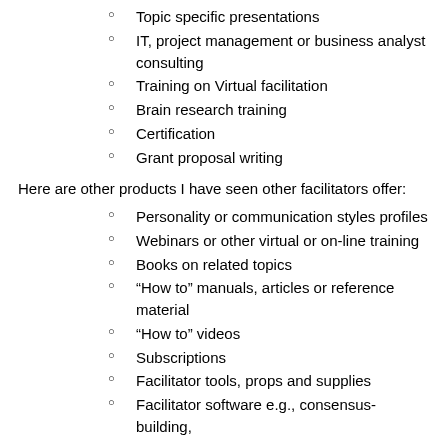Topic specific presentations
IT, project management or business analyst consulting
Training on Virtual facilitation
Brain research training
Certification
Grant proposal writing
Here are other products I have seen other facilitators offer:
Personality or communication styles profiles
Webinars or other virtual or on-line training
Books on related topics
“How to” manuals, articles or reference material
“How to” videos
Subscriptions
Facilitator tools, props and supplies
Facilitator software e.g., consensus-building,